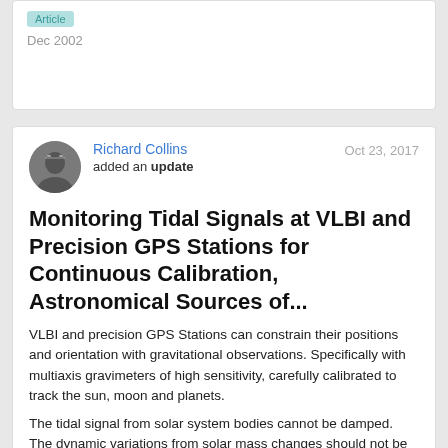Article
Dec 2002
Richard Collins
added an update
Oct 23, 2017
Monitoring Tidal Signals at VLBI and Precision GPS Stations for Continuous Calibration, Astronomical Sources of...
VLBI and precision GPS Stations can constrain their positions and orientation with gravitational observations. Specifically with multiaxis gravimeters of high sensitivity, carefully calibrated to track the sun, moon and planets.
The tidal signal from solar system bodies cannot be damped. The dynamic variations from solar mass changes should not be attenuated by the ionosphere and troposphere. The regular sun, moon and planetary signals will not be attenuated, nor distorted...